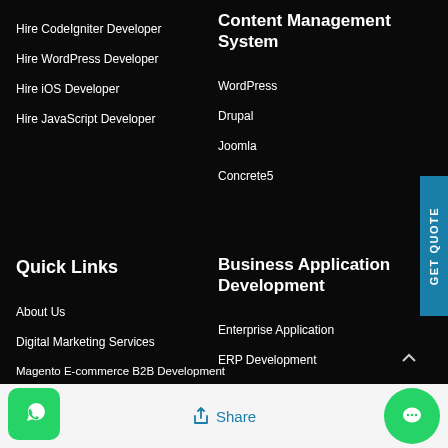Hire CodeIgniter Developer
Hire WordPress Developer
Hire iOS Developer
Hire JavaScript Developer
Content Management System
WordPress
Drupal
Joomla
Concrete5
Quick Links
About Us
Digital Marketing Services
Magento E-commerce B2B Development
Magento Optimization
Business Application Development
Enterprise Application
ERP Development
POS Software